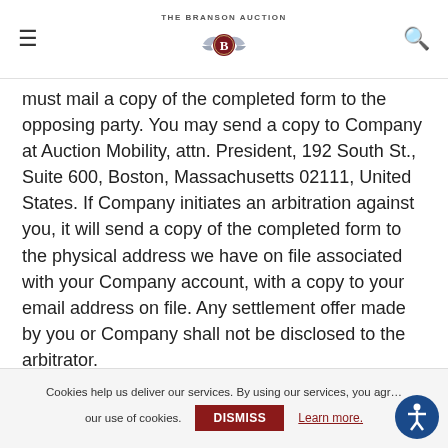THE BRANSON AUCTION [logo]
must mail a copy of the completed form to the opposing party. You may send a copy to Company at Auction Mobility, attn. President, 192 South St., Suite 600, Boston, Massachusetts 02111, United States. If Company initiates an arbitration against you, it will send a copy of the completed form to the physical address we have on file associated with your Company account, with a copy to your email address on file. Any settlement offer made by you or Company shall not be disclosed to the arbitrator.
The arbitration hearing shall be held in Boston, Massachusetts, United States.
The arbitrator will decide the substance of all claims in accordance with applicable law, including recognized principles of equity, and will honor all claims of privilege recognized by law. The
Cookies help us deliver our services. By using our services, you agree to our use of cookies. DISMISS Learn more.